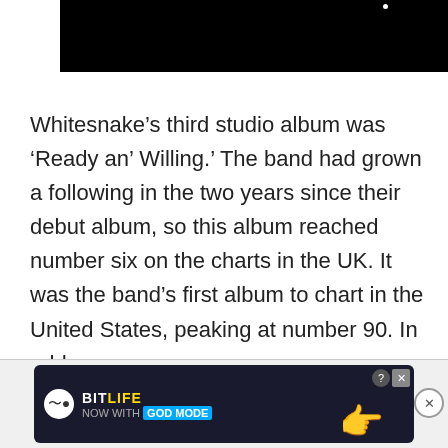[Figure (photo): Dark/black photograph, partially visible at top of page with a small white dot visible in the upper right area.]
Whitesnake’s third studio album was ‘Ready an’ Willing.’ The band had grown a following in the two years since their debut album, so this album reached number six on the charts in the UK. It was the band’s first album to chart in the United States, peaking at number 90. In add
[Figure (screenshot): Advertisement banner for BitLife game with 'NOW WITH GOD MODE' text, featuring a hand pointing icon and close/help buttons.]